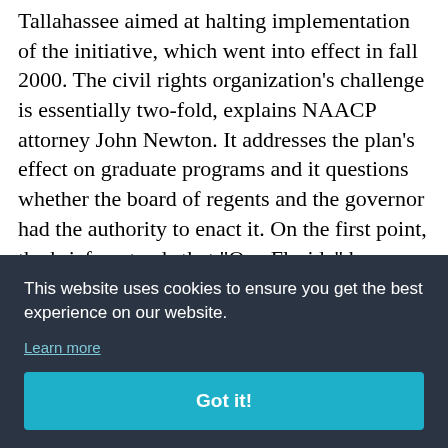Tallahassee aimed at halting implementation of the initiative, which went into effect in fall 2000. The civil rights organization's challenge is essentially two-fold, explains NAACP attorney John Newton. It addresses the plan's effect on graduate programs and it questions whether the board of regents and the governor had the authority to enact it. On the first point, the brief contends that "One Florida" has focused on the admissions and [text continues] Newton, [text continues] and [text continues] d to [text continues] on its ban of affirmative action in admissions and
This website uses cookies to ensure you get the best experience on our website. Learn more Got it!